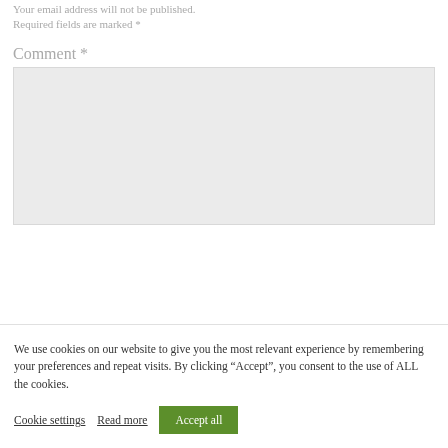Your email address will not be published. Required fields are marked *
Comment *
[Figure (other): Comment text input area (large grey textarea)]
We use cookies on our website to give you the most relevant experience by remembering your preferences and repeat visits. By clicking “Accept”, you consent to the use of ALL the cookies.
Cookie settings
Read more
Accept all